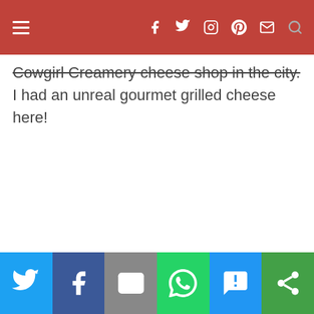Navigation header with hamburger menu and social icons (Facebook, Twitter, Instagram, Pinterest, Email, Search)
Cowgirl Creamery cheese shop in the city. I had an unreal gourmet grilled cheese here!
Social share buttons: Twitter, Facebook, Email, WhatsApp, SMS, Other